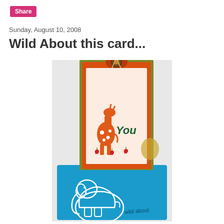Share
Sunday, August 10, 2008
Wild About this card...
[Figure (photo): A handmade greeting card featuring a giraffe and 'You' text, stamped on layered orange and olive green cardstock, sitting in a blue box decorated with a white elephant outline and 'wild about' text. A small round eyelet with twine is at the top of the card.]